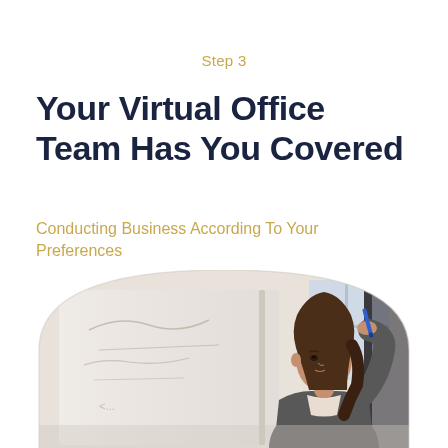Step 3
Your Virtual Office Team Has You Covered
Conducting Business According To Your Preferences
[Figure (photo): A professional woman with long dark hair wearing a grey blazer, writing on a whiteboard with a blue marker in a bright office environment. She is viewed from the side in a well-lit workspace.]